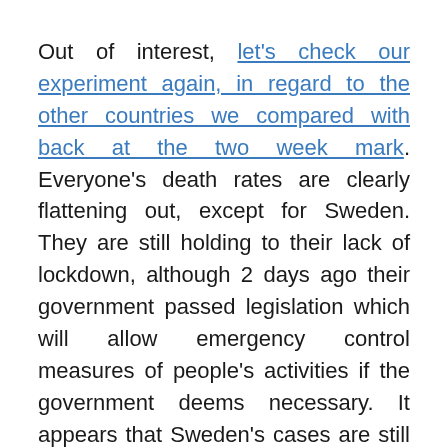Out of interest, let's check our experiment again, in regard to the other countries we compared with back at the two week mark. Everyone's death rates are clearly flattening out, except for Sweden. They are still holding to their lack of lockdown, although 2 days ago their government passed legislation which will allow emergency control measures of people's activities if the government deems necessary. It appears that Sweden's cases are still growing at least the rate of doubling every 10 days, there will be more deaths to come. At present, Sweden still appears to be prepared and willing to take those losses for the gains that come from lack of lockdown.
In terms of absolute numbers of deaths, New Zealand is looking pretty good. We are nearly two weeks on from